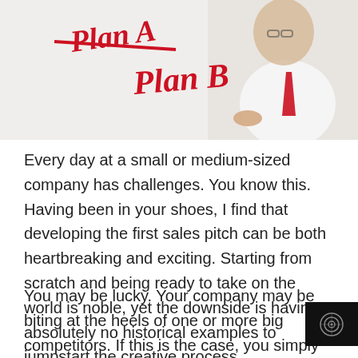[Figure (photo): A man in a white shirt and red tie writing 'Plan B' in red cursive script, with 'Plan A' crossed out above it.]
Every day at a small or medium-sized company has challenges. You know this. Having been in your shoes, I find that developing the first sales pitch can be both heartbreaking and exciting. Starting from scratch and being ready to take on the world is noble, yet the downside is having absolutely no historical examples to jumpstart the creative process.
You may be lucky. Your company may be biting at the heels of one or more big competitors. If this is the case, you simply position yourself